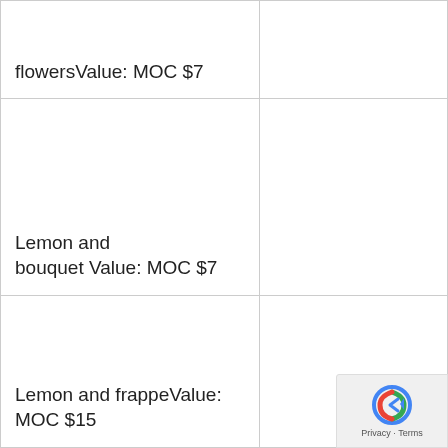| flowersValue: MOC $7 |  |
| Lemon and bouquet Value: MOC $7 |  |
| Lemon and frappeValue: MOC $15 |  |